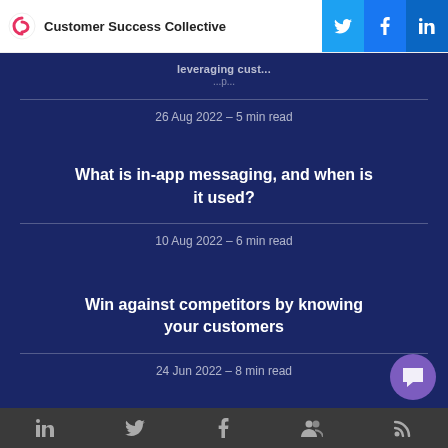Customer Success Collective
What is in-app messaging, and when is it used?
26 Aug 2022 – 5 min read
Win against competitors by knowing your customers
10 Aug 2022 – 6 min read
24 Jun 2022 – 8 min read
LinkedIn · Twitter · Facebook · Groups · RSS